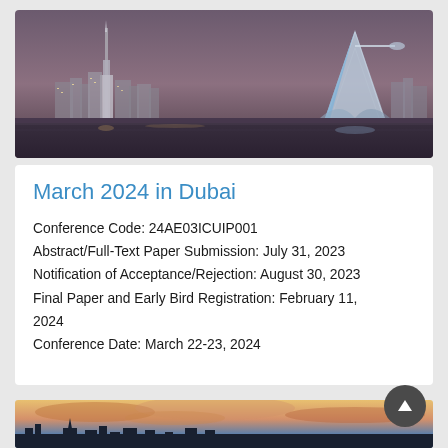[Figure (photo): Dubai city skyline at night showing Burj Khalifa on the left and Burj Al Arab on the right, with illuminated buildings and warm purple-brown sky]
March 2024 in Dubai
Conference Code: 24AE03ICUIP001
Abstract/Full-Text Paper Submission: July 31, 2023
Notification of Acceptance/Rejection: August 30, 2023
Final Paper and Early Bird Registration: February 11, 2024
Conference Date: March 22-23, 2024
[Figure (photo): City skyline at dusk/sunset with dramatic clouds, appears to be a European city with a church spire visible]